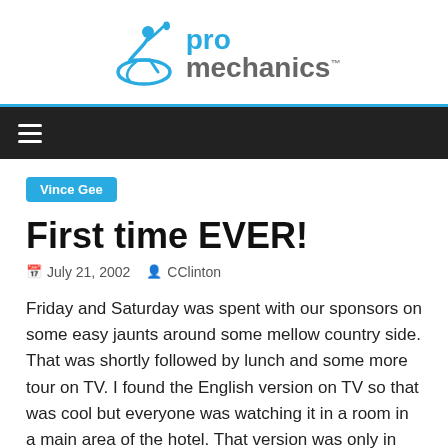[Figure (logo): Pro Mechanics logo with wheelchair athlete icon and blue/grey text]
≡ (navigation hamburger menu)
Vince Gee
First time EVER!
July 21, 2002   CClinton
Friday and Saturday was spent with our sponsors on some easy jaunts around some mellow country side. That was shortly followed by lunch and some more tour on TV. I found the English version on TV so that was cool but everyone was watching it in a room in a main area of the hotel. That version was only in French. So I hung out